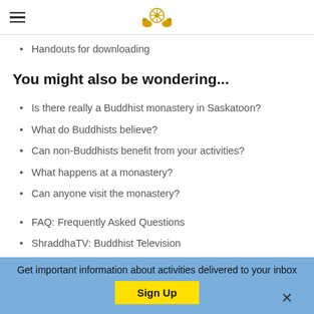[hamburger menu] [Buddhist wheel logo]
Handouts for downloading
You might also be wondering...
Is there really a Buddhist monastery in Saskatoon?
What do Buddhists believe?
Can non-Buddhists benefit from your activities?
What happens at a monastery?
Can anyone visit the monastery?
FAQ: Frequently Asked Questions
ShraddhaTV: Buddhist Television
Branch Monasteries
Get important information about activities delivered to your inbox
Sign Up